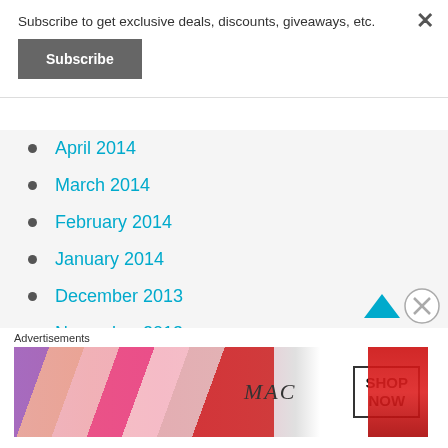Subscribe to get exclusive deals, discounts, giveaways, etc.
Subscribe
April 2014
March 2014
February 2014
January 2014
December 2013
November 2013
October 2013
September 2013
[Figure (screenshot): MAC cosmetics advertisement banner showing lipsticks, MAC logo, and SHOP NOW button]
Advertisements